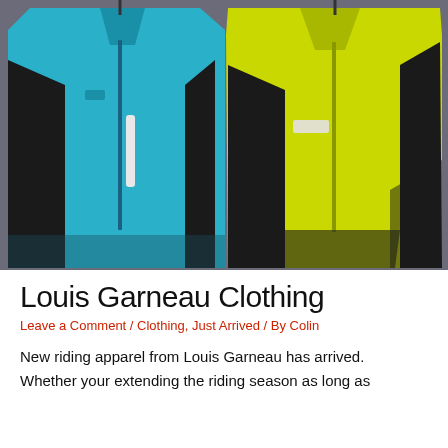[Figure (photo): Two cycling jackets hanging on a rack — a teal/blue jacket on the left and a neon yellow-green jacket on the right, both with black side panels and reflective elements, displayed against a gray background.]
Louis Garneau Clothing
Leave a Comment / Clothing, Just Arrived / By Colin
New riding apparel from Louis Garneau has arrived.
Whether your extending the riding season as long as